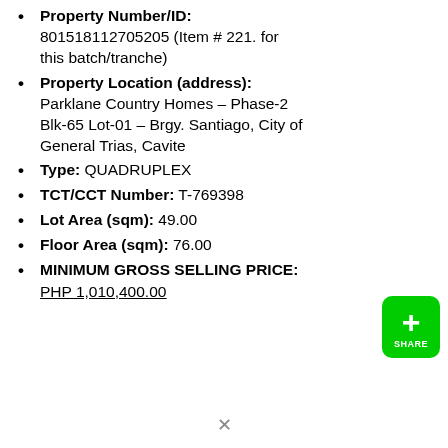Property Number/ID: 801518112705205 (Item # 221. for this batch/tranche)
Property Location (address): Parklane Country Homes – Phase-2 Blk-65 Lot-01 – Brgy. Santiago, City of General Trias, Cavite
Type: QUADRUPLEX
TCT/CCT Number: T-769398
Lot Area (sqm): 49.00
Floor Area (sqm): 76.00
MINIMUM GROSS SELLING PRICE:
PHP 1,010,400.00